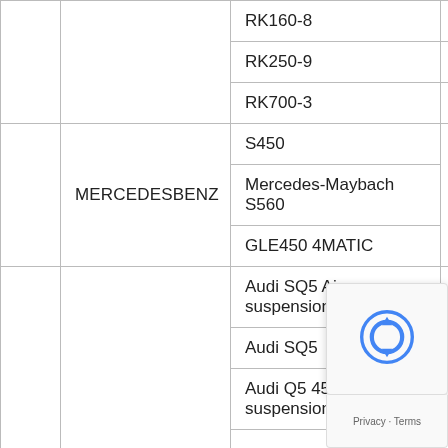|  |  | Model | Brand |
| --- | --- | --- | --- |
|  |  | RK160-8 |  |
|  |  | RK250-9 |  |
|  |  | RK700-3 |  |
|  | MERCEDESBENZ | S450 | Dai |
|  | MERCEDESBENZ | Mercedes-Maybach S560 | Dai |
|  | MERCEDESBENZ | GLE450 4MATIC | Dai |
|  |  | Audi SQ5 Air suspension |  |
|  |  | Audi SQ5 |  |
|  |  | Audi Q5 45Tq suspension |  |
|  | AUDI | Audi Q5 45T... |  |